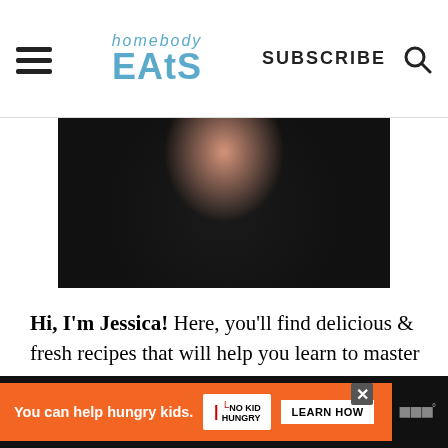Homebody Eats — SUBSCRIBE
[Figure (photo): Partial photo of a person (Jessica) against a light gray background, visible from shoulders up, wearing dark clothing]
Hi, I'm Jessica! Here, you'll find delicious & fresh recipes that will help you learn to master a new skill in the kitchen!
More about me →
[Figure (infographic): Advertisement banner: orange background with 'You can help hungry kids.' text, No Kid Hungry fork logo, and LEARN HOW button on black bar]